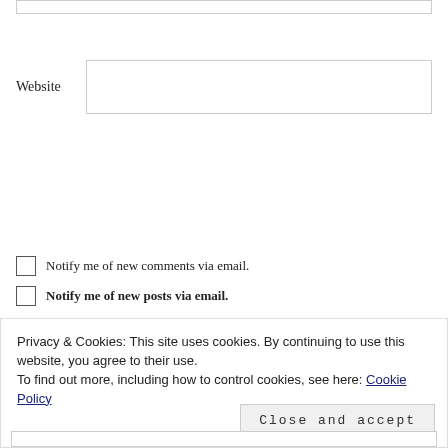Website
POST COMMENT
Notify me of new comments via email.
Notify me of new posts via email.
FOLLOW BLOG VIA EMAIL
Privacy & Cookies: This site uses cookies. By continuing to use this website, you agree to their use.
To find out more, including how to control cookies, see here: Cookie Policy
Close and accept